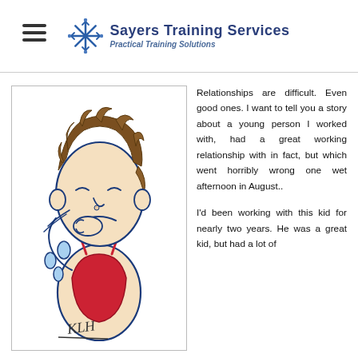Sayers Training Services — Practical Training Solutions
[Figure (illustration): Cartoon illustration of a crying child with messy brown hair, wearing a red tank top, with tears streaming down their face. The image is a hand-drawn sketch with blue outlines and watercolor-style fills.]
Relationships are difficult. Even good ones. I want to tell you a story about a young person I worked with, had a great working relationship with in fact, but which went horribly wrong one wet afternoon in August..
I'd been working with this kid for nearly two years. He was a great kid, but had a lot of